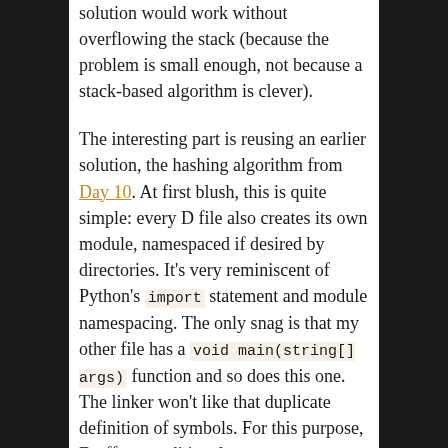solution would work without overflowing the stack (because the problem is small enough, not because a stack-based algorithm is clever).
The interesting part is reusing an earlier solution, the hashing algorithm from Day 10. At first blush, this is quite simple: every D file also creates its own module, namespaced if desired by directories. It's very reminiscent of Python's import statement and module namespacing. The only snag is that my other file has a void main(string[] args) function and so does this one. The linker won't like that duplicate definition of symbols. For this purpose, D offers conditional